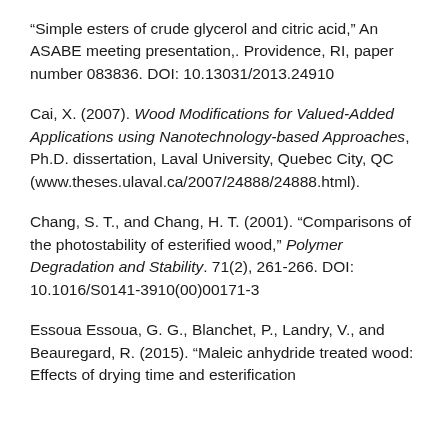“Simple esters of crude glycerol and citric acid,” An ASABE meeting presentation,. Providence, RI, paper number 083836. DOI: 10.13031/2013.24910
Cai, X. (2007). Wood Modifications for Valued-Added Applications using Nanotechnology-based Approaches, Ph.D. dissertation, Laval University, Quebec City, QC (www.theses.ulaval.ca/2007/24888/24888.html).
Chang, S. T., and Chang, H. T. (2001). “Comparisons of the photostability of esterified wood,” Polymer Degradation and Stability. 71(2), 261-266. DOI: 10.1016/S0141-3910(00)00171-3
Essoua Essoua, G. G., Blanchet, P., Landry, V., and Beauregard, R. (2015). “Maleic anhydride treated wood: Effects of drying time and esterification